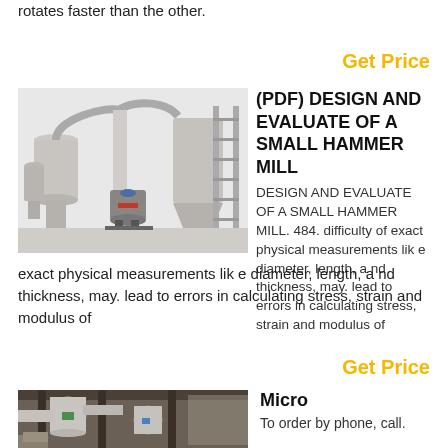rotates faster than the other.
Get Price
[Figure (photo): Industrial hammer mill / grinding mill system with cyclone dust collectors, conveyor and hopper equipment in white/grey color]
(PDF) DESIGN AND EVALUATE OF A SMALL HAMMER MILL
DESIGN AND EVALUATE OF A SMALL HAMMER MILL. 484. difficulty of exact physical measurements lik e diameter, length, a nd thickness, may. lead to errors in calculating stress, strain and modulus of
Get Price
[Figure (photo): Industrial mill machinery pipes and equipment inside a factory building]
Micro
To order by phone, call.